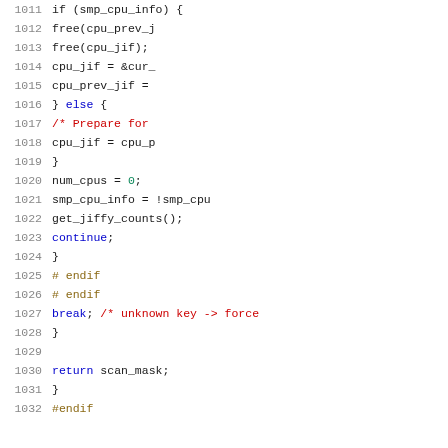[Figure (screenshot): Source code listing lines 1011-1032 showing C code with syntax highlighting. Line numbers in gray on left, code with colored keywords (blue for control flow, red for comments, brown for preprocessor directives).]